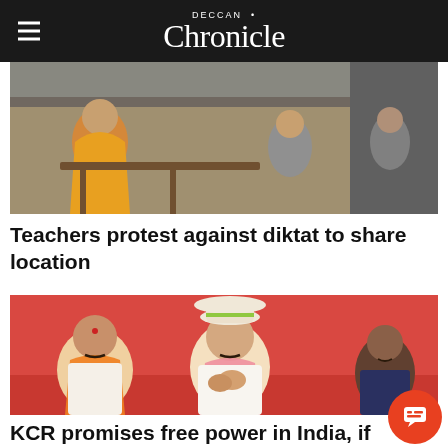DECCAN Chronicle
[Figure (photo): Photo of teachers protesting, women in colorful saris seated]
Teachers protest against diktat to share location
[Figure (photo): Photo of KCR (K. Chandrashekar Rao) wearing a hat and pink scarf, hands folded in namaste gesture, with supporters around him in front of a pink backdrop]
KCR promises free power in India, if voted to power